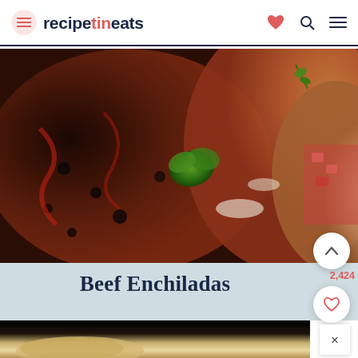recipetineats
[Figure (photo): Close-up photo of beef enchiladas topped with dark chili beef, black beans, red enchilada sauce, and fresh cilantro herb garnish]
Beef Enchiladas
2,424
[Figure (photo): Partial photo of another recipe dish, dark background with light-colored food item visible at bottom]